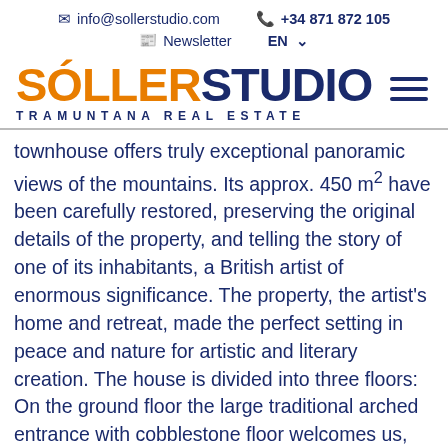info@sollerstudio.com  +34 871 872 105  Newsletter  EN
[Figure (logo): Soller Studio Tramuntana Real Estate logo — SOLLER in orange, STUDIO in dark navy, TRAMUNTANA REAL ESTATE in navy below]
townhouse offers truly exceptional panoramic views of the mountains. Its approx. 450 m² have been carefully restored, preserving the original details of the property, and telling the story of one of its inhabitants, a British artist of enormous significance. The property, the artist's home and retreat, made the perfect setting in peace and nature for artistic and literary creation. The house is divided into three floors: On the ground floor the large traditional arched entrance with cobblestone floor welcomes us, leading directly onto the garden of approx. 150 m², the swimming pool and the intense green of the adjoining orange trees